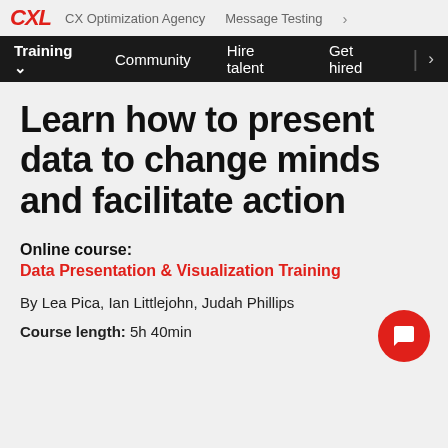CXL | CX Optimization Agency | Message Testing >
Training ∨  Community  Hire talent  Get hired  | >
Learn how to present data to change minds and facilitate action
Online course:
Data Presentation & Visualization Training
By Lea Pica, Ian Littlejohn, Judah Phillips
Course length: 5h 40min